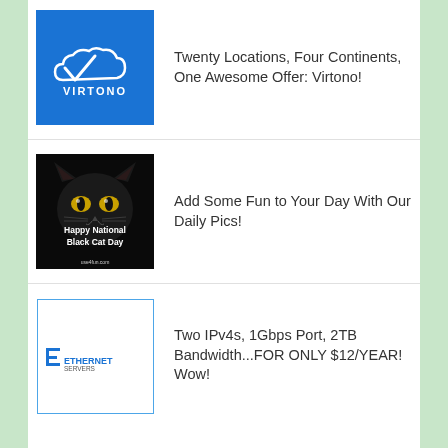[Figure (logo): Virtono logo: white cloud with checkmark and VIRTONO text on blue background]
Twenty Locations, Four Continents, One Awesome Offer: Virtono!
[Figure (photo): Black cat face close-up on dark background with text 'Happy National Black Cat Day']
Add Some Fun to Your Day With Our Daily Pics!
[Figure (logo): Ethernet Servers logo: IE icon with ETHERNETSERVERS text, inside blue-bordered white box]
Two IPv4s, 1Gbps Port, 2TB Bandwidth...FOR ONLY $12/YEAR! Wow!